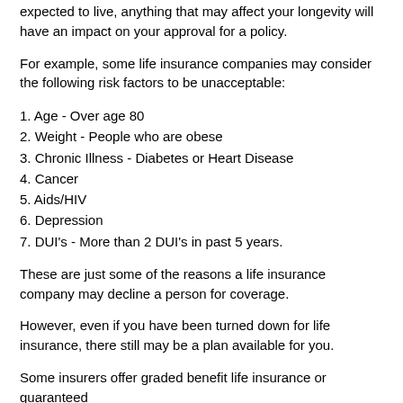expected to live, anything that may affect your longevity will have an impact on your approval for a policy.
For example, some life insurance companies may consider the following risk factors to be unacceptable:
1. Age - Over age 80
2. Weight - People who are obese
3. Chronic Illness - Diabetes or Heart Disease
4. Cancer
5. Aids/HIV
6. Depression
7. DUI's - More than 2 DUI's in past 5 years.
These are just some of the reasons a life insurance company may decline a person for coverage.
However, even if you have been turned down for life insurance, there still may be a plan available for you.
Some insurers offer graded benefit life insurance or guaranteed